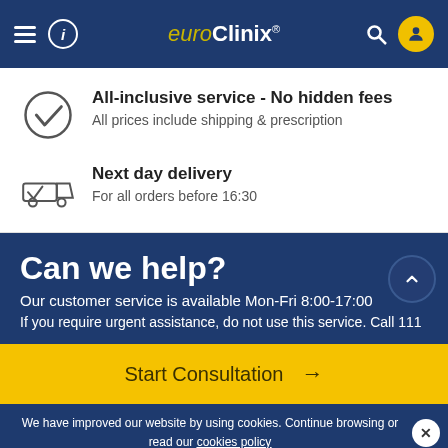euroClinix
All-inclusive service - No hidden fees
All prices include shipping & prescription
Next day delivery
For all orders before 16:30
Can we help?
Our customer service is available Mon-Fri 8:00-17:00
If you require urgent assistance, do not use this service. Call 111
Start Consultation →
We have improved our website by using cookies. Continue browsing or read our cookies policy
020 3322 ...